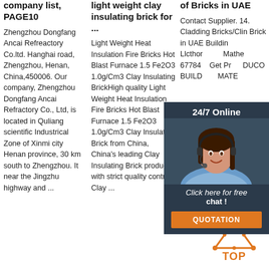company list, PAGE10
Zhengzhou Dongfang Ancai Refreactory Co.ltd. Hanghai road, Zhengzhou, Henan, China,450006. Our company, Zhengzhou Dongfang Ancai Refractory Co., Ltd, is located in Quliang scientific Industrical Zone of Xinmi city Henan province, 30 km south to Zhengzhou. It near the Jingzhu highway and ...
light weight clay insulating brick for ...
Light Weight Heat Insulation Fire Bricks Hot Blast Furnace 1.5 Fe2O3 1.0g/Cm3 Clay Insulating BrickHigh quality Light Weight Heat Insulation Fire Bricks Hot Blast Furnace 1.5 Fe2O3 1.0g/Cm3 Clay Insulating Brick from China, China's leading Clay Insulating Brick product, with strict quality control Clay ...
of Bricks in UAE
Contact Supplier. 14. Cladding Bricks/Clin Brick in UAE Building Llcthorntons Mathews 677843. Get Price DUCO BUILDING MATERIAL ...
[Figure (photo): Chat support widget with woman wearing headset, dark background, '24/7 Online' header, 'Click here for free chat!' text, and orange QUOTATION button]
[Figure (other): Orange 'Get Price' button]
[Figure (other): Orange TOP badge with triangle/pyramid icon]